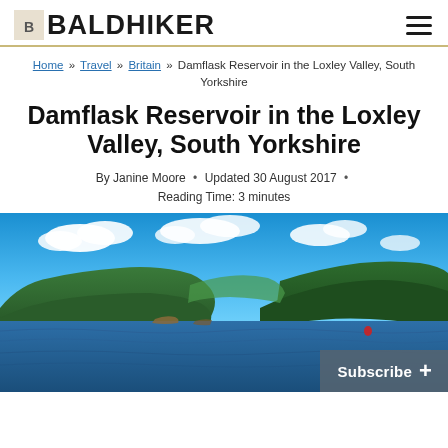BALDHIKER
Home » Travel » Britain » Damflask Reservoir in the Loxley Valley, South Yorkshire
Damflask Reservoir in the Loxley Valley, South Yorkshire
By Janine Moore • Updated 30 August 2017 • Reading Time: 3 minutes
[Figure (photo): Panoramic view of Damflask Reservoir in the Loxley Valley, South Yorkshire. Blue sky with white clouds, green wooded hillsides, calm reservoir water in foreground, small red marker buoy visible on the right side of the water.]